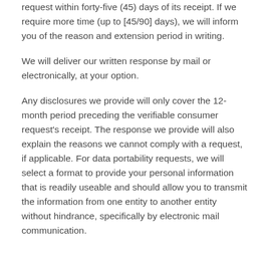request within forty-five (45) days of its receipt. If we require more time (up to [45/90] days), we will inform you of the reason and extension period in writing.
We will deliver our written response by mail or electronically, at your option.
Any disclosures we provide will only cover the 12-month period preceding the verifiable consumer request's receipt. The response we provide will also explain the reasons we cannot comply with a request, if applicable. For data portability requests, we will select a format to provide your personal information that is readily useable and should allow you to transmit the information from one entity to another entity without hindrance, specifically by electronic mail communication.